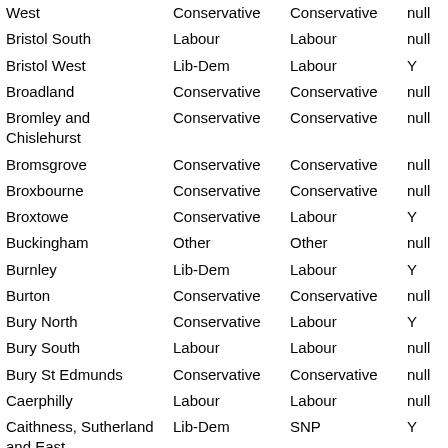| Constituency | Party1 | Party2 | Flag | Value |
| --- | --- | --- | --- | --- |
| West | Conservative | Conservative | null | 35 |
| Bristol South | Labour | Labour | null | 19 |
| Bristol West | Lib-Dem | Labour | Y | 17 |
| Broadland | Conservative | Conservative | null | 41 |
| Bromley and Chislehurst | Conservative | Conservative | null | 51 |
| Bromsgrove | Conservative | Conservative | null | 43 |
| Broxbourne | Conservative | Conservative | null | 53 |
| Broxtowe | Conservative | Labour | Y | 35 |
| Buckingham | Other | Other | null | 60 |
| Burnley | Lib-Dem | Labour | Y | 16 |
| Burton | Conservative | Conservative | null | 39 |
| Bury North | Conservative | Labour | Y | 37 |
| Bury South | Labour | Labour | null | 31 |
| Bury St Edmunds | Conservative | Conservative | null | 43 |
| Caerphilly | Labour | Labour | null | 15 |
| Caithness, Sutherland and East | Lib-Dem | SNP | Y | 16 |